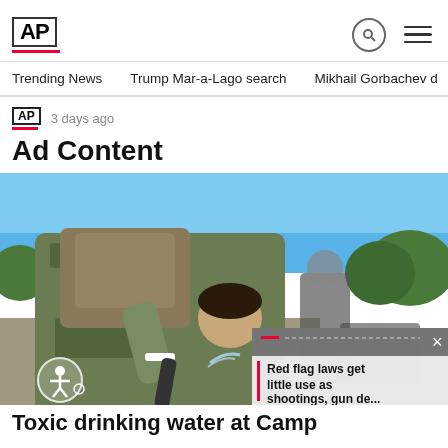AP
Trending News   Trump Mar-a-Lago search   Mikhail Gorbachev d
AP  3 days ago
Ad Content
[Figure (photo): Military person in camouflage gear drinking from a water fountain outdoors on a sunny day with blue sky background. Accessibility button visible bottom left. Side popup overlay showing red flag laws article.]
Toxic drinking water at Camp